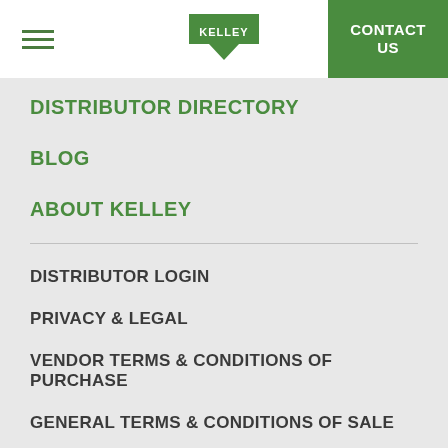KELLEY | CONTACT US
DISTRIBUTOR DIRECTORY
BLOG
ABOUT KELLEY
DISTRIBUTOR LOGIN
PRIVACY & LEGAL
VENDOR TERMS & CONDITIONS OF PURCHASE
GENERAL TERMS & CONDITIONS OF SALE
QUALITY POLICY
© ASSA ABLOY | Part of ASSA ABLOY | 2022